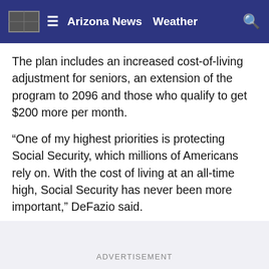Arizona News   Weather
The plan includes an increased cost-of-living adjustment for seniors, an extension of the program to 2096 and those who qualify to get $200 more per month.
“One of my highest priorities is protecting Social Security, which millions of Americans rely on. With the cost of living at an all-time high, Social Security has never been more important,” DeFazio said.
ADVERTISEMENT
Lawmakers said the bill would help low-income workers by updating and increasing the minimum benefit level equal to